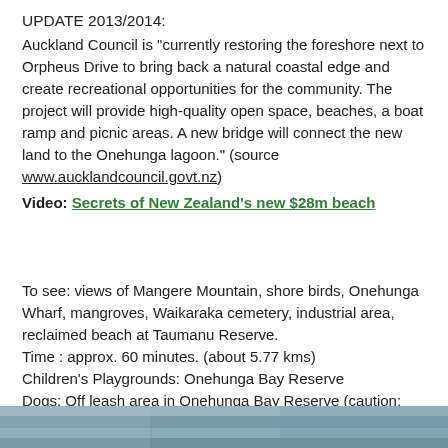UPDATE 2013/2014:
Auckland Council is "currently restoring the foreshore next to Orpheus Drive to bring back a natural coastal edge and create recreational opportunities for the community. The project will provide high-quality open space, beaches, a boat ramp and picnic areas. A new bridge will connect the new land to the Onehunga lagoon." (source www.aucklandcouncil.govt.nz)
Video: Secrets of New Zealand's new $28m beach
To see: views of Mangere Mountain, shore birds, Onehunga Wharf, mangroves, Waikaraka cemetery, industrial area, reclaimed beach at Taumanu Reserve.
Time : approx. 60 minutes. (about 5.77 kms)
Children's Playgrounds: Onehunga Bay Reserve
Dogs: Off leash area in Onehunga Bay Reserve (caution: muddy after rain). Dogs not allowed within Taumanu Reserve.
Start from: Princes Street, Onehunga MAP
[Figure (photo): Gray/blue landscape photo strip at bottom of page, partially visible]